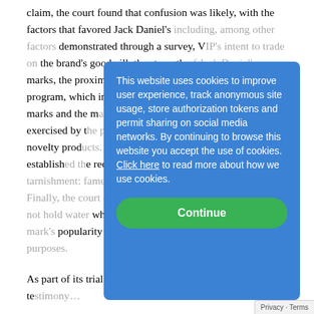claim, the court found that confusion was likely, with the factors that favored Jack Daniel's including, among other factors demonstrated through a survey, VIP's intent to trade on the brand's goodwill, the strength of Jack Daniel's marks, the proximity of the goods, Jack Daniel's licensing program, which includes dog products, the similarity of the marks and the marketing channels, the low degree of care exercised by the purchasers of the inexpensive dog toy novelty products. The court also found that Jack Daniel's established the requisite elements for dilution by tarnishment: fame, similarity, and reputational harm. Finally, the court concluded that the claim of parody does not hold water where the parodist seeks to capitalize on the mark's popularity for the parodist's own
This website uses cookies to improve user experience, track anonymous site usage, store authorization tokens and permit sharing on social media networks. By continuing to browse this website you accept the use of cookies. Click here to read more about how we use cookies.
Continue
As part of its trial evidence, Jack Daniel's submitted te...